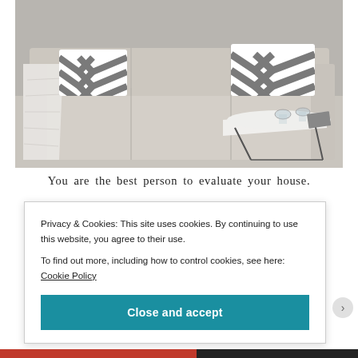[Figure (photo): Photo of a light beige sofa with two grey and white chevron zigzag patterned throw pillows, a white throw blanket draped over the left arm, and a white geometric coffee table with glass cups and a magazine in front.]
You are the best person to evaluate your house.
Privacy & Cookies: This site uses cookies. By continuing to use this website, you agree to their use.
To find out more, including how to control cookies, see here: Cookie Policy
Close and accept